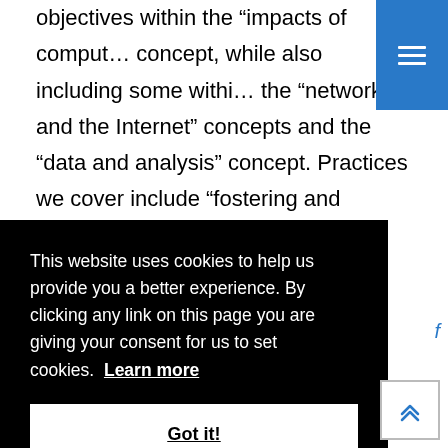objectives within the “impacts of comput… concept, while also including some withi… the “networks and the Internet” concepts and the “data and analysis” concept. Practices we cover include “fostering and inclusive computing culture”, “recognizing and defining computational problems”, and
[Figure (screenshot): Blue hamburger menu button in top-right corner]
This website uses cookies to help us provide you a better experience. By clicking any link on this page you are giving your consent for us to set cookies. Learn more
Got it!